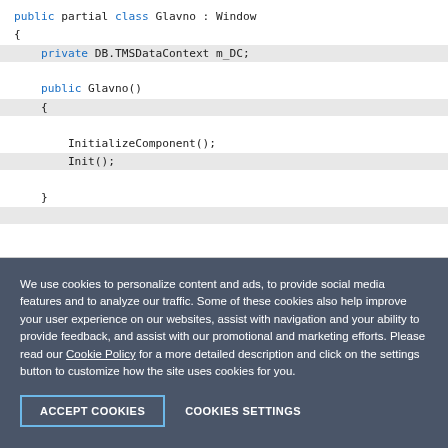[Figure (screenshot): Code editor screenshot showing C# partial class 'Glavno' with constructor and Init() method. Uses blue keywords (public, private, class, new) and green commented-out lines.]
We use cookies to personalize content and ads, to provide social media features and to analyze our traffic. Some of these cookies also help improve your user experience on our websites, assist with navigation and your ability to provide feedback, and assist with our promotional and marketing efforts. Please read our Cookie Policy for a more detailed description and click on the settings button to customize how the site uses cookies for you.
ACCEPT COOKIES
COOKIES SETTINGS